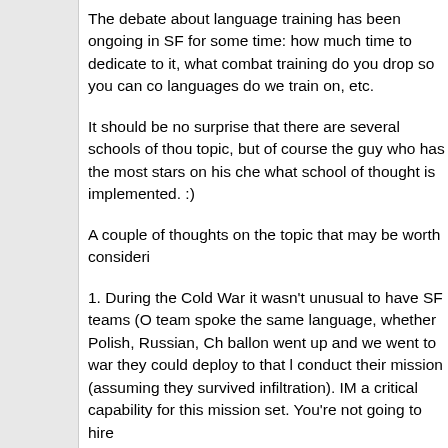The debate about language training has been ongoing in SF for some time: how much time to dedicate to it, what combat training do you drop so you can cover language training, what languages do we train on, etc.
It should be no surprise that there are several schools of thought on this topic, but of course the guy who has the most stars on his chest gets to decide what school of thought is implemented. :)
A couple of thoughts on the topic that may be worth considering:
1. During the Cold War it wasn't unusual to have SF teams (ODA's) where the whole team spoke the same language, whether Polish, Russian, Chinese, etc. If the ballon went up and we went to war they could deploy to that location and conduct their mission (assuming they survived infiltration). IMO language was a critical capability for this mission set. You're not going to hire interpreters...
2. Over the past 20 our so years (and there are still exceptions), we've had Soldiers who speak different foreign languages. Not only does this complicate training, but also is this really a warfighting or IW capability? If Jon speaks Korean, and John speaks Arabic, does Joe become an Arabic specialist when their in Afghanistan, or does he still focus on his main job (medic, team leader, weapons, etc.)? Or is just a guy on the team who has Arabic help the mission.
3. For conventional forces I imagine the problems will be even greater. As Ken states we rarely know where we're going, and in many countries there is not one language. I believe has at least 12 major languages for example. Except for out wars like OIF and Vietnam, which are somewhat predictable...